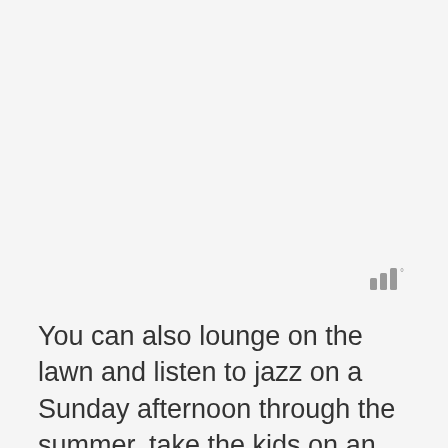[Figure (other): Small signal/wifi-bar style icon with three vertical bars of increasing height and a degree symbol, rendered in gray]
You can also lounge on the lawn and listen to jazz on a Sunday afternoon through the summer, take the kids on an activity nature trail, and even go on a bat walk at night, before heading back to your campfire and fairy lights.